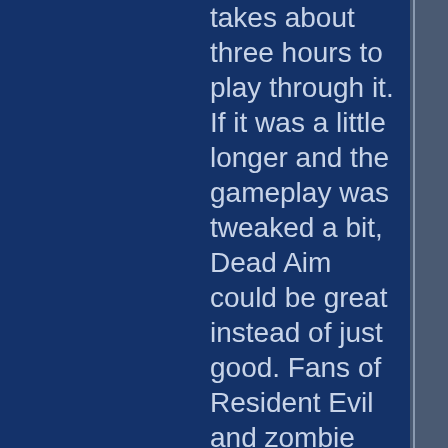takes about three hours to play through it. If it was a little longer and the gameplay was tweaked a bit, Dead Aim could be great instead of just good. Fans of Resident Evil and zombie fanatics will find a lot to like about